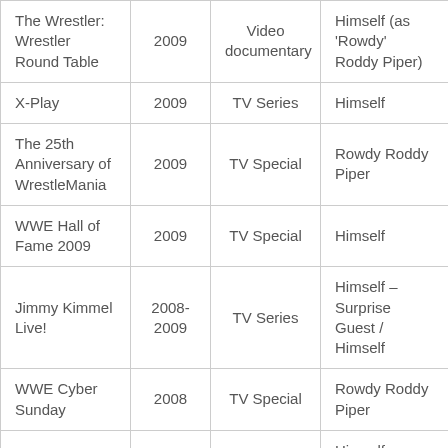| Title | Year | Type | Role |
| --- | --- | --- | --- |
| The Wrestler: Wrestler Round Table | 2009 | Video documentary | Himself (as 'Rowdy' Roddy Piper) |
| X-Play | 2009 | TV Series | Himself |
| The 25th Anniversary of WrestleMania | 2009 | TV Special | Rowdy Roddy Piper |
| WWE Hall of Fame 2009 | 2009 | TV Special | Himself |
| Jimmy Kimmel Live! | 2008-2009 | TV Series | Himself – Surprise Guest / Himself |
| WWE Cyber Sunday | 2008 | TV Special | Rowdy Roddy Piper |
|  |  |  | Himself – |